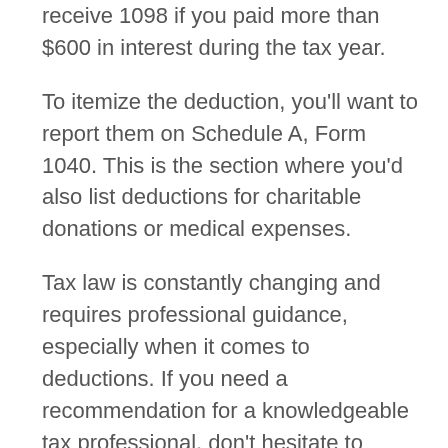receive 1098 if you paid more than $600 in interest during the tax year.
To itemize the deduction, you'll want to report them on Schedule A, Form 1040. This is the section where you'd also list deductions for charitable donations or medical expenses.
Tax law is constantly changing and requires professional guidance, especially when it comes to deductions. If you need a recommendation for a knowledgeable tax professional, don't hesitate to contact us. And when it comes to home